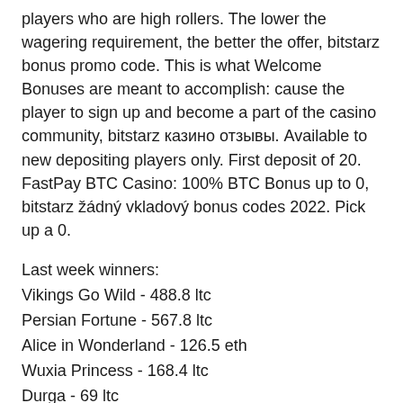players who are high rollers. The lower the wagering requirement, the better the offer, bitstarz bonus promo code. This is what Welcome Bonuses are meant to accomplish: cause the player to sign up and become a part of the casino community, bitstarz казино отзывы. Available to new depositing players only. First deposit of 20. FastPay BTC Casino: 100% BTC Bonus up to 0, bitstarz žádný vkladový bonus codes 2022. Pick up a 0.
Last week winners:
Vikings Go Wild - 488.8 ltc
Persian Fortune - 567.8 ltc
Alice in Wonderland - 126.5 eth
Wuxia Princess - 168.4 ltc
Durga - 69 ltc
Supe It Up - 113 ltc
Gobblers Gold - 78.6 bch
Gold - 115.2 dog
The Mummy 2018 - 117.5 dog